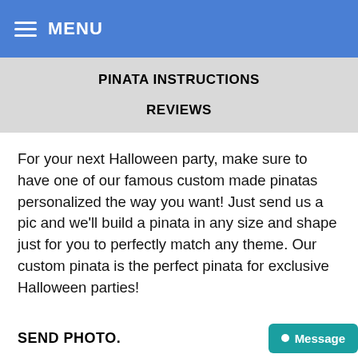MENU
PINATA INSTRUCTIONS
REVIEWS
For your next Halloween party, make sure to have one of our famous custom made pinatas personalized the way you want! Just send us a pic and we'll build a pinata in any size and shape just for you to perfectly match any theme. Our custom pinata is the perfect pinata for exclusive Halloween parties!
SEND PHOTO.